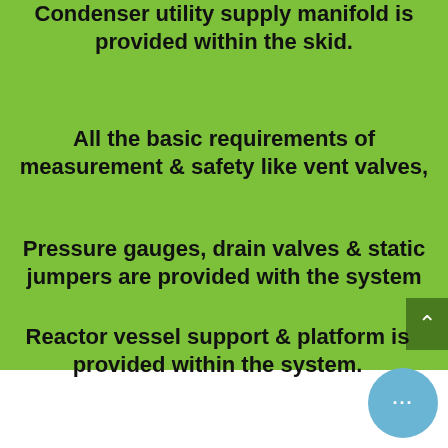Condenser utility supply manifold is provided within the skid.
All the basic requirements of measurement & safety like vent valves,
Pressure gauges, drain valves & static jumpers are provided with the system
Reactor vessel support & platform is provided within the system.